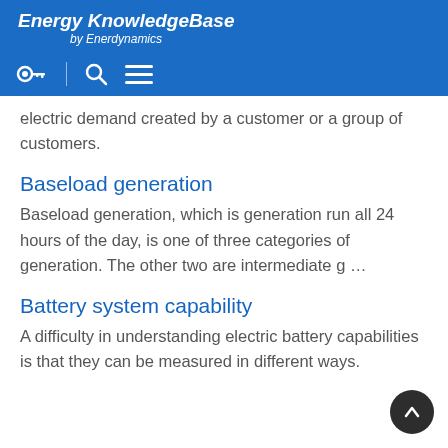Energy KnowledgeBase by Enerdynamics
electric demand created by a customer or a group of customers.
Baseload generation
Baseload generation, which is generation run all 24 hours of the day, is one of three categories of generation. The other two are intermediate g …
Battery system capability
A difficulty in understanding electric battery capabilities is that they can be measured in different ways.